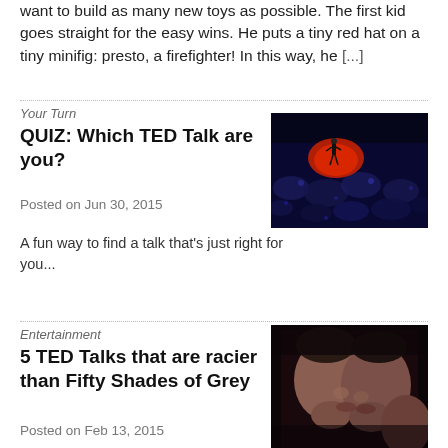want to build as many new toys as possible. The first kid goes straight for the easy wins. He puts a tiny red hat on a tiny minifig: presto, a firefighter! In this way, he [...]
Your Turn
QUIZ: Which TED Talk are you?
Posted on Jun 30, 2015
A fun way to find a talk that's just right for you...
[Figure (photo): Dark photo of a TED Talk stage with a speaker on a red circle and audience in blue lighting]
Entertainment
5 TED Talks that are racier than Fifty Shades of Grey
Posted on Feb 13, 2015
[Figure (photo): Close-up of two people about to kiss, in reddish-brown tones against dark background]